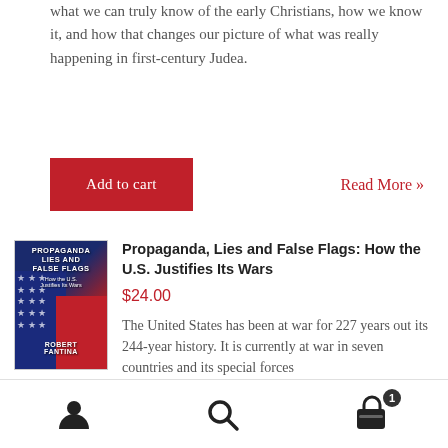what we can truly know of the early Christians, how we know it, and how that changes our picture of what was really happening in first-century Judea.
Add to cart
Read More »
[Figure (illustration): Book cover for 'Propaganda, Lies and False Flags: How the U.S. Justifies Its Wars' by Robert Fantina, showing an American flag design in red, white, and blue.]
Propaganda, Lies and False Flags: How the U.S. Justifies Its Wars
$24.00
The United States has been at war for 227 years out its 244-year history. It is currently at war in seven countries and its special forces